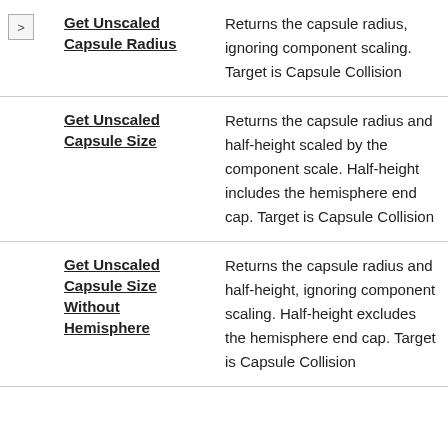|  | Name | Description |
| --- | --- | --- |
| > | Get Unscaled Capsule Radius | Returns the capsule radius, ignoring component scaling. Target is Capsule Collision |
|  | Get Unscaled Capsule Size | Returns the capsule radius and half-height scaled by the component scale. Half-height includes the hemisphere end cap. Target is Capsule Collision |
|  | Get Unscaled Capsule Size Without Hemisphere | Returns the capsule radius and half-height, ignoring component scaling. Half-height excludes the hemisphere end cap. Target is Capsule Collision |